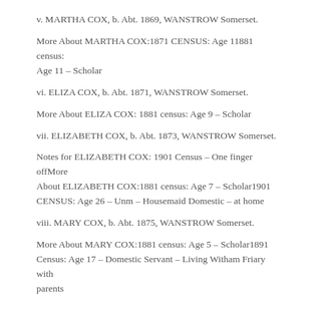v. MARTHA COX, b. Abt. 1869, WANSTROW Somerset.
More About MARTHA COX:1871 CENSUS: Age 11881 census: Age 11 – Scholar
vi. ELIZA COX, b. Abt. 1871, WANSTROW Somerset.
More About ELIZA COX: 1881 census: Age 9 – Scholar
vii. ELIZABETH COX, b. Abt. 1873, WANSTROW Somerset.
Notes for ELIZABETH COX: 1901 Census – One finger offMore About ELIZABETH COX:1881 census: Age 7 – Scholar1901 CENSUS: Age 26 – Unm – Housemaid Domestic – at home
viii. MARY COX, b. Abt. 1875, WANSTROW Somerset.
More About MARY COX:1881 census: Age 5 – Scholar1891 Census: Age 17 – Domestic Servant – Living Witham Friary with parents